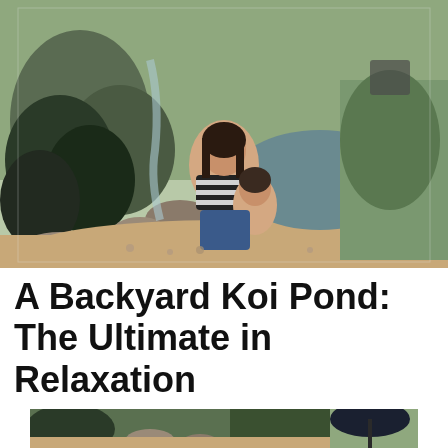[Figure (photo): A woman and young child sitting together on gravel beside a backyard koi pond with rocks, large tropical leaves, waterfall, and green plants in the background.]
A Backyard Koi Pond: The Ultimate in Relaxation
[Figure (photo): Partial view of a backyard garden scene, cropped at bottom of page, showing similar koi pond area with patio furniture umbrella visible on right.]